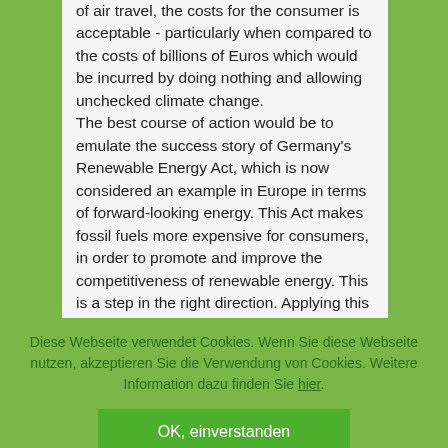of air travel, the costs for the consumer is acceptable - particularly when compared to the costs of billions of Euros which would be incurred by doing nothing and allowing unchecked climate change. The best course of action would be to emulate the success story of Germany's Renewable Energy Act, which is now considered an example in Europe in terms of forward-looking energy. This Act makes fossil fuels more expensive for consumers, in order to promote and improve the competitiveness of renewable energy. This is a step in the right direction. Applying this to
Diese Webseite verwendet Cookies. Wenn Sie diese Webseite nutzen, akzeptieren Sie die Verwendung von Cookies. Weitere Information dazu finden Sie hier.
OK, einverstanden